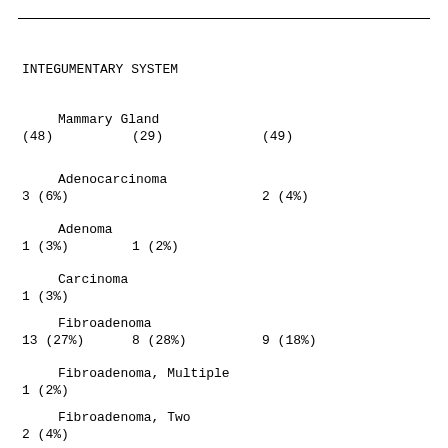INTEGUMENTARY SYSTEM
Mammary Gland
(48)    (29)    (49)
Adenocarcinoma
3 (6%)              2 (4%)
Adenoma
1 (3%)    1 (2%)
Carcinoma
1 (3%)
Fibroadenoma
13 (27%)    8 (28%)    9 (18%)
Fibroadenoma, Multiple
1 (2%)
Fibroadenoma, Two
2 (4%)